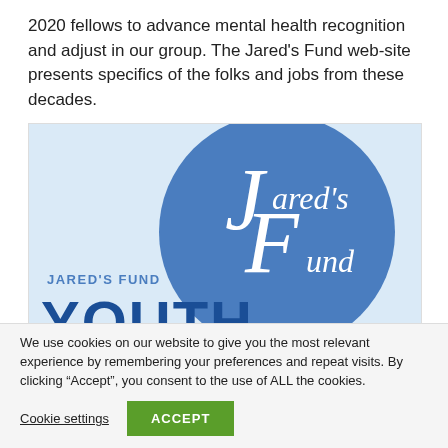2020 fellows to advance mental health recognition and adjust in our group. The Jared's Fund web-site presents specifics of the folks and jobs from these decades.
[Figure (logo): Jared's Fund Youth Fellowship Program logo. Light blue background with a large blue circle containing stylized white text 'Jared's Fund' with a large J and F letterforms. Below left reads 'JARED'S FUND' in small caps and 'YOUTH' in large bold blue letters. Bottom portion partially cut off.]
We use cookies on our website to give you the most relevant experience by remembering your preferences and repeat visits. By clicking "Accept", you consent to the use of ALL the cookies.
Cookie settings   ACCEPT